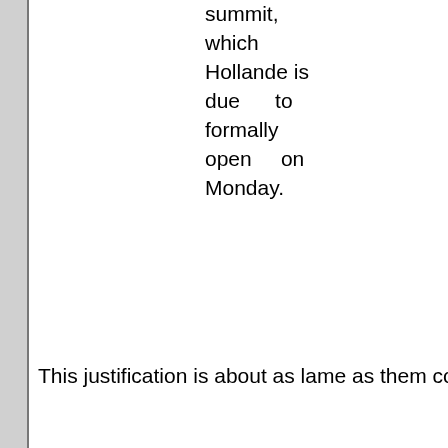summit, which Hollande is due to formally open on Monday.
This justification is about as lame as them come:
AFP news agency has had access to the restraining notices. It says they point to the “threat to public